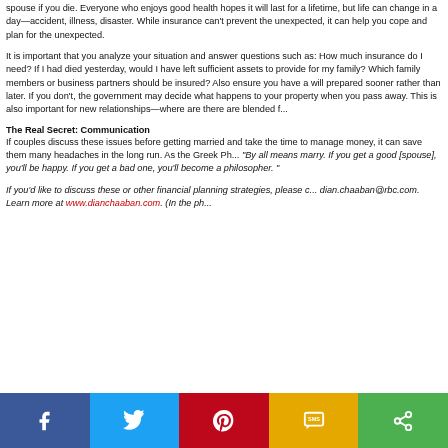spouse if you die. Everyone who enjoys good health hopes it will last for a lifetime, but life can change in a day—accident, illness, disaster. While insurance can't prevent the unexpected, it can help you cope and plan for the unexpected.
It is important that you analyze your situation and answer questions such as: How much insurance do I need? If I had died yesterday, would I have left sufficient assets to provide for my family? Which family members or business partners should be insured? Also ensure you have a will prepared sooner rather than later. If you don't, the government may decide what happens to your property when you pass away. This is also important for new relationships—where are there are blended families.
The Real Secret: Communication
If couples discuss these issues before getting married and take the time to learn how to manage money, it can save them many headaches in the long run. As the Greek Philosopher Socrates once said: "By all means marry. If you get a good [spouse], you'll be happy. If you get a bad one, you'll become a philosopher."
If you'd like to discuss these or other financial planning strategies, please contact me at dian.chaaban@rbc.com. Learn more at www.dianchaaban.com. (In the ph...